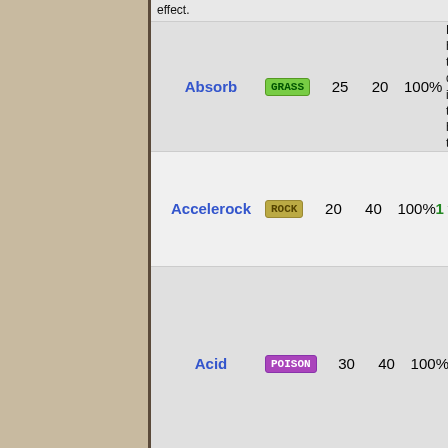effect.
| Move | Type | Category | PP | Power | Accuracy | Priority | Description |
| --- | --- | --- | --- | --- | --- | --- | --- |
| Absorb | GRASS | Special | 25 | 20 | 100% |  | Drains half the damage inflicted to heal the u... |
| Accelerock | ROCK | Physical | 20 | 40 | 100% | 1 | Inflicts regular damage with no additional effect. |
| Acid | POISON | Special | 30 | 40 | 100% |  | Has a 10% chance to lower the target's Special Defense by one stage... |
| Acid Armor | POISON | Status | 20 | — | — |  | Raises the user's Defense by two stage... |
| Acid Downpour | POISON | Physical | 1 | * | — |  | Inflicts regular damage with no additional... |